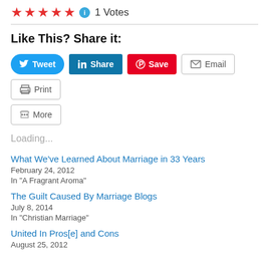[Figure (other): Five red star rating icons followed by a blue info icon and '1 Votes' text]
Like This? Share it:
[Figure (other): Social sharing buttons: Tweet (Twitter), Share (LinkedIn), Save (Pinterest), Email, Print, More]
Loading...
What We've Learned About Marriage in 33 Years
February 24, 2012
In "A Fragrant Aroma"
The Guilt Caused By Marriage Blogs
July 8, 2014
In "Christian Marriage"
United In Pros[e] and Cons
August 25, 2012